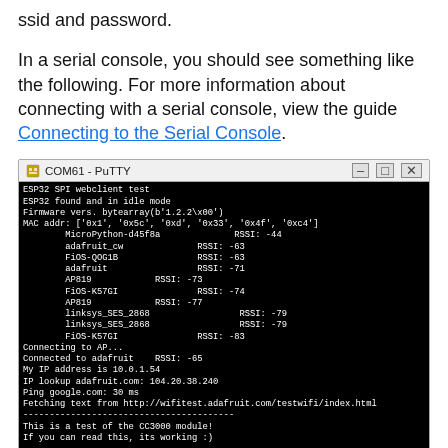ssid and password.
In a serial console, you should see something like the following. For more information about connecting with a serial console, view the guide Connecting to the Serial Console.
[Figure (screenshot): A PuTTY terminal window titled 'COM61 - PuTTY' showing ESP32 SPI webclient test output on a black background, including scan results for nearby WiFi networks, connection to adafruit AP, IP address 10.0.1.54, ping google.com 30ms, and a test message from wifitest.adafruit.com.]